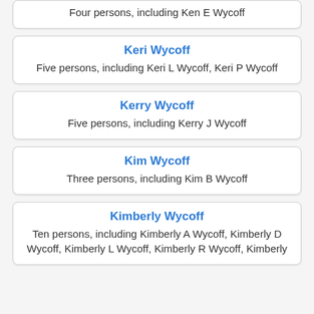Four persons, including Ken E Wycoff
Keri Wycoff
Five persons, including Keri L Wycoff, Keri P Wycoff
Kerry Wycoff
Five persons, including Kerry J Wycoff
Kim Wycoff
Three persons, including Kim B Wycoff
Kimberly Wycoff
Ten persons, including Kimberly A Wycoff, Kimberly D Wycoff, Kimberly L Wycoff, Kimberly R Wycoff, Kimberly